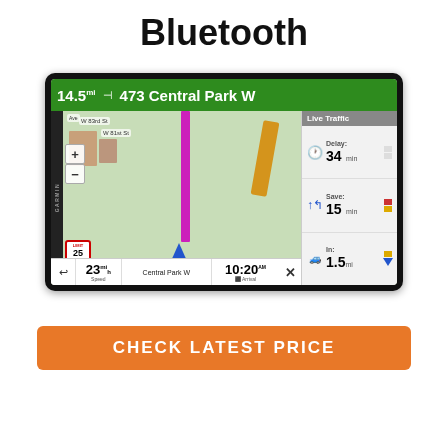Bluetooth
[Figure (photo): Garmin GPS navigation device screen showing map with Live Traffic panel. Display shows: 14.5mi to 473 Central Park W, Delay: 34 min, Save: 15 min, In: 1.5mi, Speed: 23 mph, Arrival: 10:20 AM]
CHECK LATEST PRICE